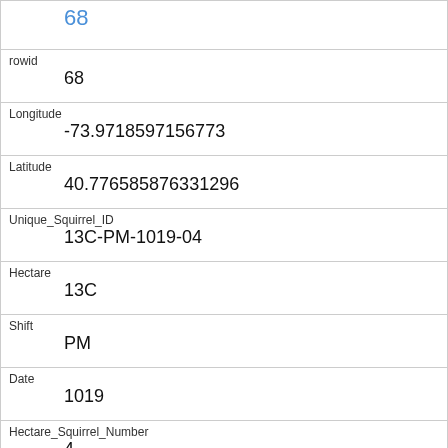| Field | Value |
| --- | --- |
| (link) | 68 |
| rowid | 68 |
| Longitude | -73.9718597156773 |
| Latitude | 40.776585876331296 |
| Unique_Squirrel_ID | 13C-PM-1019-04 |
| Hectare | 13C |
| Shift | PM |
| Date | 1019 |
| Hectare_Squirrel_Number | 4 |
| Age | Adult |
| Primary_Fur_Color |  |